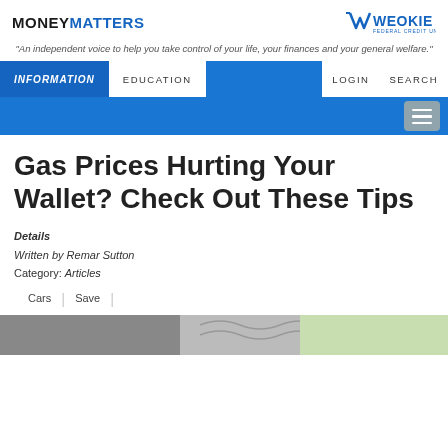MONEYMATTERS
WEOKIE FEDERAL CREDIT UNION
"An independent voice to help you take control of your life, your finances and your general welfare."
INFORMATION  EDUCATION  LOGIN  SEARCH
Gas Prices Hurting Your Wallet? Check Out These Tips
Details
Written by Remar Sutton
Category: Articles
Cars | Save |
[Figure (photo): Bottom image strip showing a car and decorative wave/stripe elements]